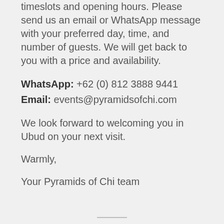timeslots and opening hours. Please send us an email or WhatsApp message with your preferred day, time, and number of guests. We will get back to you with a price and availability.
WhatsApp: +62 (0) 812 3888 9441
Email: events@pyramidsofchi.com
We look forward to welcoming you in Ubud on your next visit.
Warmly,
Your Pyramids of Chi team